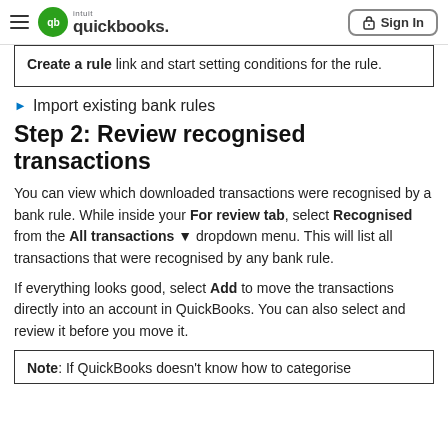QuickBooks — Sign In
Create a rule link and start setting conditions for the rule.
Import existing bank rules
Step 2: Review recognised transactions
You can view which downloaded transactions were recognised by a bank rule. While inside your For review tab, select Recognised from the All transactions ▼ dropdown menu. This will list all transactions that were recognised by any bank rule.
If everything looks good, select Add to move the transactions directly into an account in QuickBooks. You can also select and review it before you move it.
Note: If QuickBooks doesn't know how to categorise